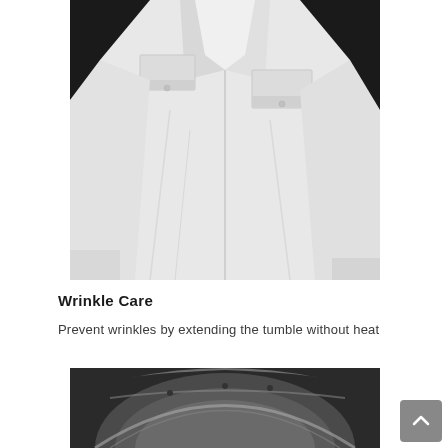[Figure (photo): Black and white photo of a white button-up shirt with chest pockets, displayed on a dark background]
Wrinkle Care
Prevent wrinkles by extending the tumble without heat
[Figure (photo): Close-up photo of a dryer drum interior, shown in metallic grey tones]